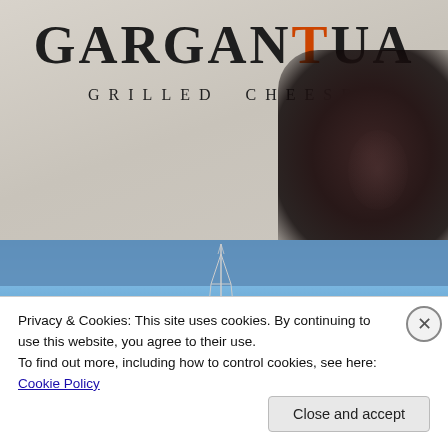[Figure (photo): Close-up photo of a paper bag or packaging for 'GARGANTUA GRILLED CHEESE' restaurant, with distressed vintage serif typography. The word GARGANTUA appears in large bold letters, with the letter O in orange/red. Below it reads 'GRILLED CHEESE' in spaced capital letters. A dark thumb/hand is partially visible in the lower right corner.]
[Figure (photo): Partial photo of a blue sky with a communication tower or antenna visible, partially obscured by a blue/grey banner overlay at the top of the image section.]
Privacy & Cookies: This site uses cookies. By continuing to use this website, you agree to their use.
To find out more, including how to control cookies, see here: Cookie Policy
Close and accept